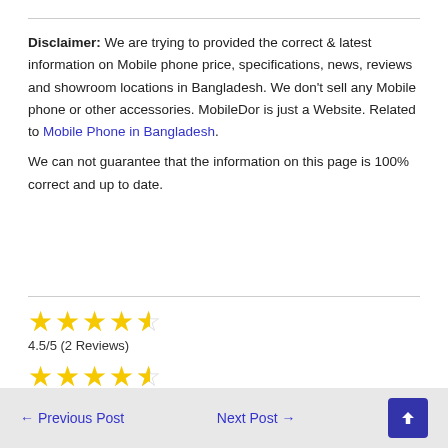Disclaimer: We are trying to provided the correct & latest information on Mobile phone price, specifications, news, reviews and showroom locations in Bangladesh. We don't sell any Mobile phone or other accessories. MobileDor is just a Website. Related to Mobile Phone in Bangladesh. We can not guarantee that the information on this page is 100% correct and up to date.
[Figure (other): Two rows of star ratings each showing 4.5 out of 5 stars (4 full yellow stars and 1 half star), with text '4.5/5 (2 Reviews)' below each row.]
← Previous Post    Next Post →